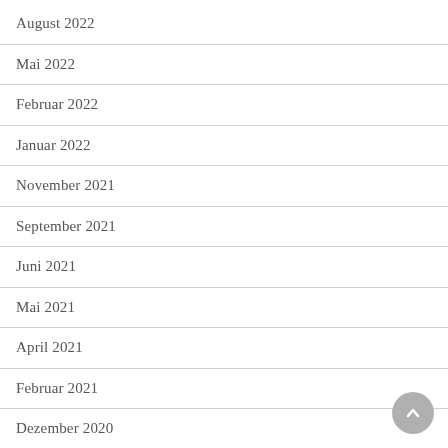August 2022
Mai 2022
Februar 2022
Januar 2022
November 2021
September 2021
Juni 2021
Mai 2021
April 2021
Februar 2021
Dezember 2020
Oktober 2020